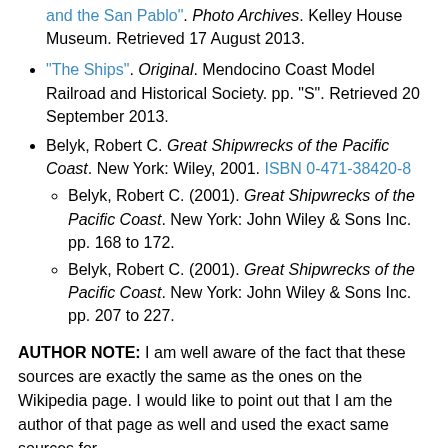and the San Pablo". Photo Archives. Kelley House Museum. Retrieved 17 August 2013.
"The Ships". Original. Mendocino Coast Model Railroad and Historical Society. pp. "S". Retrieved 20 September 2013.
Belyk, Robert C. Great Shipwrecks of the Pacific Coast. New York: Wiley, 2001. ISBN 0-471-38420-8
Belyk, Robert C. (2001). Great Shipwrecks of the Pacific Coast. New York: John Wiley & Sons Inc. pp. 168 to 172.
Belyk, Robert C. (2001). Great Shipwrecks of the Pacific Coast. New York: John Wiley & Sons Inc. pp. 207 to 227.
AUTHOR NOTE: I am well aware of the fact that these sources are exactly the same as the ones on the Wikipedia page. I would like to point out that I am the author of that page as well and used the exact same sources for